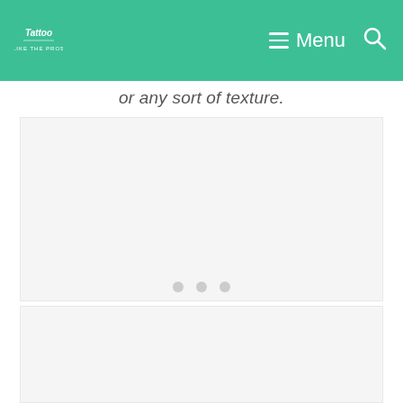Tattoo — Like The Pros | Menu
or any sort of texture.
[Figure (photo): Large light gray placeholder image area (top slideshow panel)]
[Figure (other): Slideshow navigation dots — three gray circles]
[Figure (photo): Large light gray placeholder image area (bottom panel)]